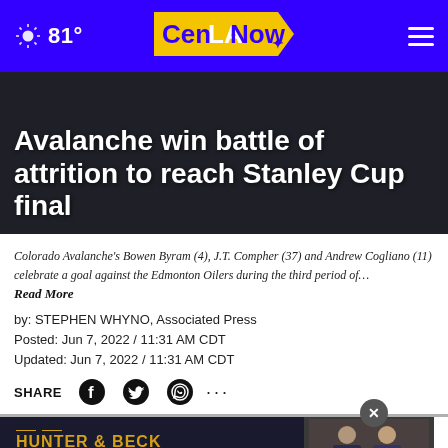81° CenLANow
Avalanche win battle of attrition to reach Stanley Cup final
Colorado Avalanche's Bowen Byram (4), J.T. Compher (37) and Andrew Cogliano (11) celebrate a goal against the Edmonton Oilers during the third period of… Read More
by: STEPHEN WHYNO, Associated Press
Posted: Jun 7, 2022 / 11:31 AM CDT
Updated: Jun 7, 2022 / 11:31 AM CDT
SHARE
[Figure (infographic): Advertisement banner for Hunter & Beck Attorneys with photo of two attorneys]
With N... Mikko